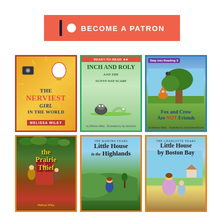[Figure (other): Patreon banner button with coral/orange background, white circle icon, dark bar, and bold white text 'BECOME A PATRON']
[Figure (other): Book cover: 'The Nerviest Girl in the World' by Melissa Wiley, orange/yellow with film reel design, red border]
[Figure (other): Book cover: 'Inch and Roly and the Sunny Day Scare' Ready-to-Read series, green border, cartoon bug characters]
[Figure (other): Book cover: 'Fox and Crow Are NOT Friends' Step into Reading level 3, blue border, illustrated fox and crow by tree]
[Figure (other): Book cover: 'the Prairie Thief' by Melissa Wiley, orange border, illustrated girls by red door]
[Figure (other): Book cover: 'The Martha Years: Little House in the Highlands', orange border, girl in field with hills]
[Figure (other): Book cover: 'The Charlotte Years: Little House by Boston Bay', orange border, girl in period dress outdoors]